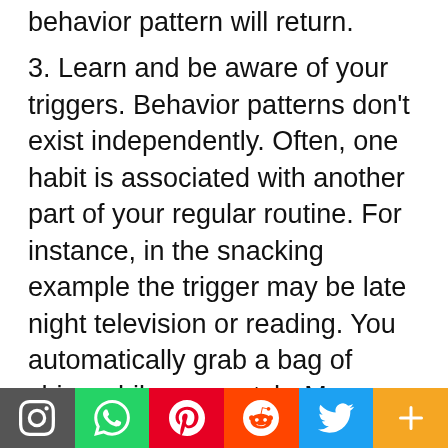behavior pattern will return.
3. Learn and be aware of your triggers. Behavior patterns don't exist independently. Often, one habit is associated with another part of your regular routine. For instance, in the snacking example the trigger may be late night television or reading. You automatically grab a bag of chips while you watch. Many people who smoke automatically light up after eating. Think about when and why you do the thing you want to quit.
4. Post reminders to yourself. You can do this by leaving yourself notes in the places where the behavior usually occurs. Or you can leave
[Figure (infographic): Social media share bar with icons for Instagram, WhatsApp, Pinterest, Reddit, Twitter, and a More (+) button]